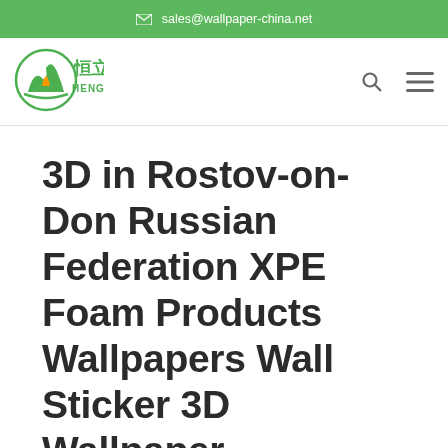✉ sales@wallpaper-china.net
[Figure (logo): Hengli company logo with green mountain/wave icon and Chinese characters 恒立 with HENGLI text below]
3D in Rostov-on-Don Russian Federation XPE Foam Products Wallpapers Wall Sticker 3D Wallpaper